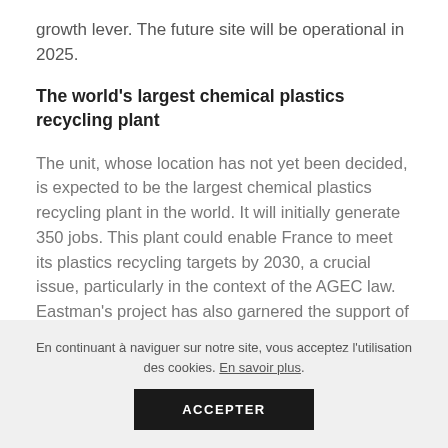growth lever. The future site will be operational in 2025.
The world's largest chemical plastics recycling plant
The unit, whose location has not yet been decided, is expected to be the largest chemical plastics recycling plant in the world. It will initially generate 350 jobs. This plant could enable France to meet its plastics recycling targets by 2030, a crucial issue, particularly in the context of the AGEC law. Eastman's project has also garnered the support of an impressive list of international brands that share its
En continuant à naviguer sur notre site, vous acceptez l'utilisation des cookies. En savoir plus.
ACCEPTER